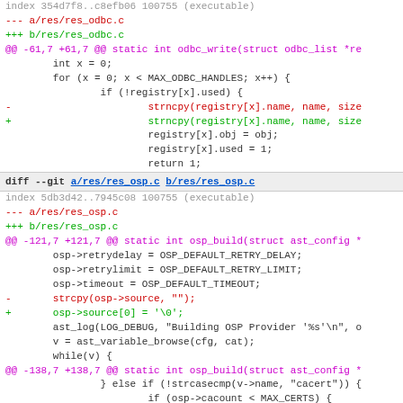index 354d7f8..c8efb06 100755 (executable)
--- a/res/res_odbc.c
+++ b/res/res_odbc.c
@@ -61,7 +61,7 @@ static int odbc_write(struct odbc_list *re
int x = 0;
        for (x = 0; x < MAX_ODBC_HANDLES; x++) {
                if (!registry[x].used) {
-                       strncpy(registry[x].name, name, size
+                       strncpy(registry[x].name, name, size
registry[x].obj = obj;
                        registry[x].used = 1;
                        return 1;
diff --git a/res/res_osp.c b/res/res_osp.c
index 5db3d42..7945c08 100755 (executable)
--- a/res/res_osp.c
+++ b/res/res_osp.c
@@ -121,7 +121,7 @@ static int osp_build(struct ast_config *
osp->retrydelay = OSP_DEFAULT_RETRY_DELAY;
        osp->retrylimit = OSP_DEFAULT_RETRY_LIMIT;
        osp->timeout = OSP_DEFAULT_TIMEOUT;
-       strcpy(osp->source, "");
+       osp->source[0] = '\0';
ast_log(LOG_DEBUG, "Building OSP Provider '%s'\n", o
        v = ast_variable_browse(cfg, cat);
        while(v) {
@@ -138,7 +138,7 @@ static int osp_build(struct ast_config *
} else if (!strcasecmp(v->name, "cacert")) {
                        if (osp->cacount < MAX_CERTS) {
                                if (v->value[0] == '/')
-                               strncpy(osp->cacerts